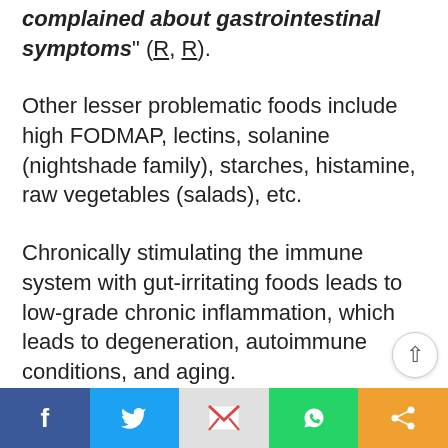complained about gastrointestinal symptoms" (R, R).
Other lesser problematic foods include high FODMAP, lectins, solanine (nightshade family), starches, histamine, raw vegetables (salads), etc.
Chronically stimulating the immune system with gut-irritating foods leads to low-grade chronic inflammation, which leads to degeneration, autoimmune conditions, and aging.
Eliminating problematic foods (that give you problems) have a beneficial effect on you, such